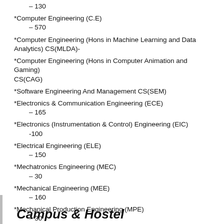– 130
*Computer Engineering (C.E)
– 570
*Computer Engineering (Hons in Machine Learning and Data Analytics) CS(MLDA)-
*Computer Engineering (Hons in Computer Animation and Gaming) CS(CAG)
*Software Engineering And Management CS(SEM)
*Electronics & Communication Engineering (ECE)
– 165
*Electronics (Instrumentation & Control) Engineering (EIC)
-100
*Electrical Engineering (ELE)
– 150
*Mechatronics Engineering (MEC)
– 30
*Mechanical Engineering (MEE)
– 160
*Mechanical Production Engineering (MPE)
– 30
* Electronics and Computers (ECE)
– 180
Campus & Hostel